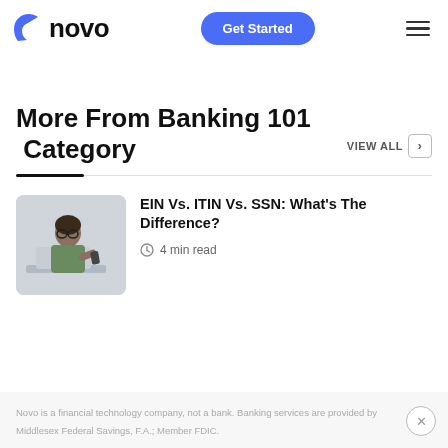[Figure (logo): Novo logo with blue arc icon and bold black 'novo' text]
More From Banking 101 Category
VIEW ALL
EIN Vs. ITIN Vs. SSN: What’s The Difference?
4 min read
Novo is a financial technology company, not a bank. Banking services are provided by Middlesex Federal Savings, F.A.; Member FDIC.